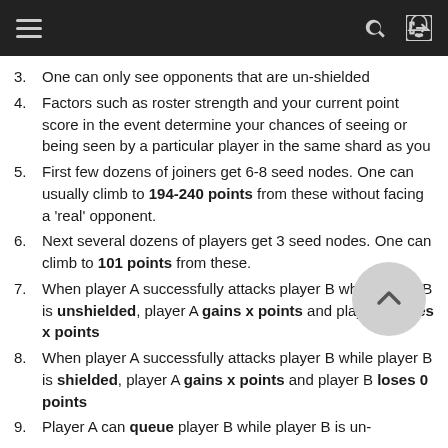Navigation bar with hamburger menu, search, and login icons
3. One can only see opponents that are un-shielded
4. Factors such as roster strength and your current point score in the event determine your chances of seeing or being seen by a particular player in the same shard as you
5. First few dozens of joiners get 6-8 seed nodes. One can usually climb to 194-240 points from these without facing a 'real' opponent.
6. Next several dozens of players get 3 seed nodes. One can climb to 101 points from these.
7. When player A successfully attacks player B while player B is unshielded, player A gains x points and player B loses x points
8. When player A successfully attacks player B while player B is shielded, player A gains x points and player B loses 0 points
9. Player A can queue player B while player B is un-